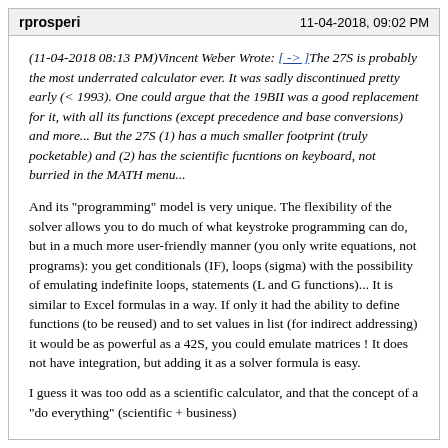rprosperi | 11-04-2018, 09:02 PM
(11-04-2018 08:13 PM)Vincent Weber Wrote: [-> ]The 27S is probably the most underrated calculator ever. It was sadly discontinued pretty early (< 1993). One could argue that the 19BII was a good replacement for it, with all its functions (except precedence and base conversions) and more... But the 27S (1) has a much smaller footprint (truly pocketable) and (2) has the scientific fucntions on keyboard, not burried in the MATH menu...
And its "programming" model is very unique. The flexibility of the solver allows you to do much of what keystroke programming can do, but in a much more user-friendly manner (you only write equations, not programs): you get conditionals (IF), loops (sigma) with the possibility of emulating indefinite loops, statements (L and G functions)... It is similar to Excel formulas in a way. If only it had the ability to define functions (to be reused) and to set values in list (for indirect addressing) it would be as powerful as a 42S, you could emulate matrices ! It does not have integration, but adding it as a solver formula is easy.
I guess it was too odd as a scientific calculator, and that the concept of a "do everything" (scientific + business)